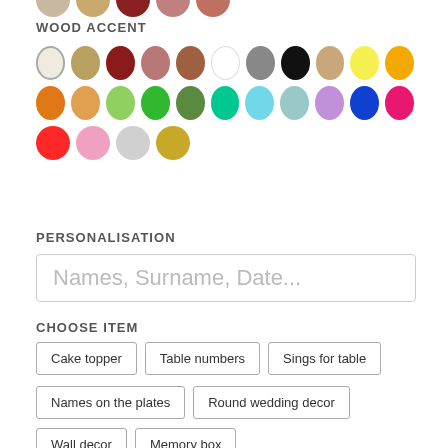[Figure (other): Partial row of color swatches (circles) at top of page, cropped]
WOOD ACCENT
[Figure (other): Grid of 25 color swatches (circles): row 1: cream/beige (selected), tan/gold, dark red, mauve/pink, brown, white, gray, black, light tan, yellow, orange; row 2: orange, light orange, light green, green, olive green, teal, light blue, powder blue, lavender, cobalt blue, hot pink; row 3: red, pink, light gray, dark yellow/gold]
PERSONALISATION
Names, Surname, Date...
CHOOSE ITEM
Cake topper
Table numbers
Sings for table
Names on the plates
Round wedding decor
Wall decor
Memory box